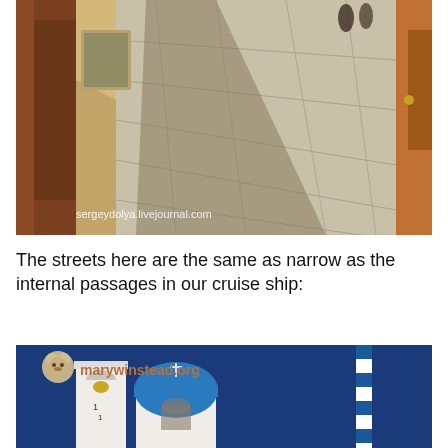[Figure (photo): A narrow cobblestone alley in a Mediterranean village with whitewashed buildings and strong shadows. Watermark: sergeydolya.livejournal.com]
The streets here are the same as narrow as the internal passages in our cruise ship:
[Figure (photo): A Greek Orthodox church with a blue dome and white bell tower against a deep blue sky. Watermark: marywinstead.org with a bear logo.]